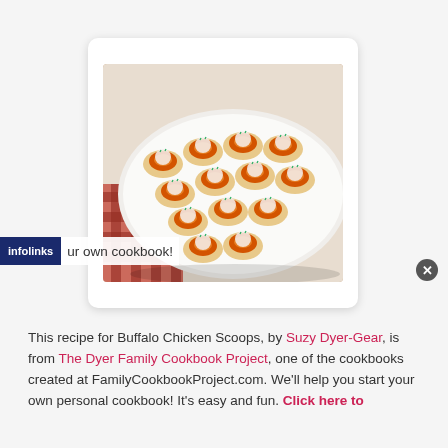[Figure (photo): Photo of Buffalo Chicken Scoops appetizers arranged on a white plate — small crispy tortilla cups filled with spiced buffalo chicken and topped with white cream sauce and green chives, displayed on a red checkered cloth background.]
This recipe for Buffalo Chicken Scoops, by Suzy Dyer-Gear, is from The Dyer Family Cookbook Project, one of the cookbooks created at FamilyCookbookProject.com. We'll help you start your own personal cookbook! It's easy and fun. Click here to start your own cookbook!